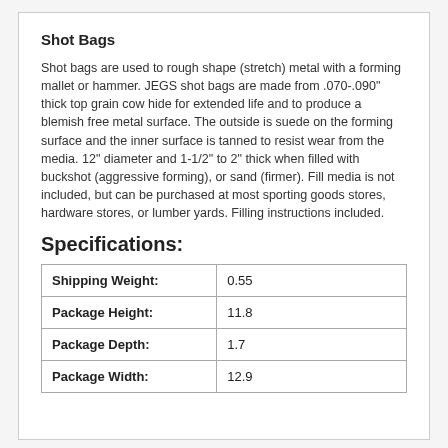Shot Bags
Shot bags are used to rough shape (stretch) metal with a forming mallet or hammer. JEGS shot bags are made from .070-.090" thick top grain cow hide for extended life and to produce a blemish free metal surface. The outside is suede on the forming surface and the inner surface is tanned to resist wear from the media. 12" diameter and 1-1/2" to 2" thick when filled with buckshot (aggressive forming), or sand (firmer). Fill media is not included, but can be purchased at most sporting goods stores, hardware stores, or lumber yards. Filling instructions included.
Specifications:
| Shipping Weight: | 0.55 |
| --- | --- |
| Package Height: | 11.8 |
| Package Depth: | 1.7 |
| Package Width: | 12.9 |